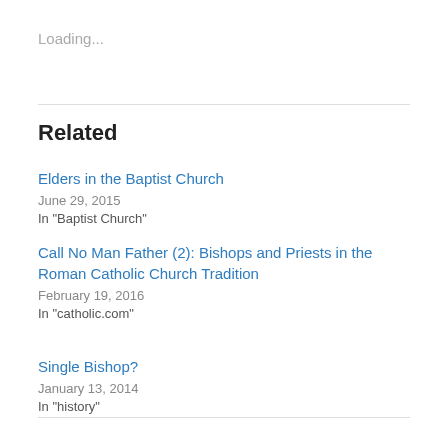Loading...
Related
Elders in the Baptist Church
June 29, 2015
In "Baptist Church"
Call No Man Father (2): Bishops and Priests in the Roman Catholic Church Tradition
February 19, 2016
In "catholic.com"
Single Bishop?
January 13, 2014
In "history"